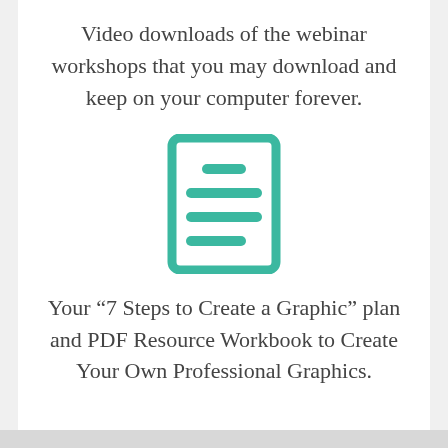Video downloads of the webinar workshops that you may download and keep on your computer forever.
[Figure (illustration): Teal/green icon of a document with horizontal lines representing text, inside a rounded rectangle border]
Your “7 Steps to Create a Graphic” plan and PDF Resource Workbook to Create Your Own Professional Graphics.